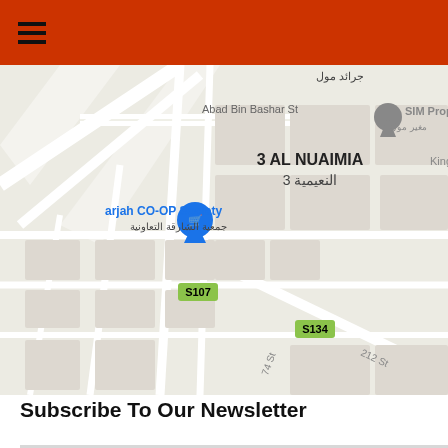≡ (hamburger menu)
[Figure (map): Google Maps screenshot showing Al Nuaimia area in Sharjah, UAE. Visible landmarks include Sharjah CO-OP Society (جمعية الشارقة التعاونية), 3 AL NUAIMIA / النعيمية 3, SIM Properties, Abad Bin Bashar St, and route markers S107 and S134.]
Subscribe To Our Newsletter
Email
Subscribe
Call Us